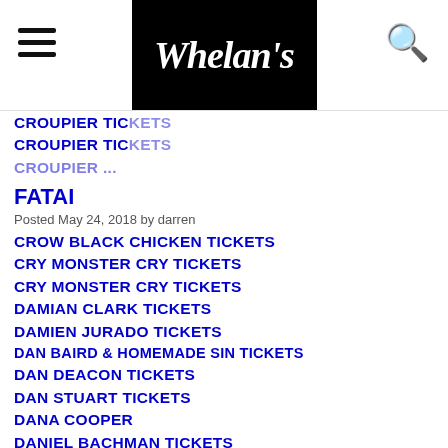Whelan's
CROUPIER TICKETS
CROUPIER TICKETS
CROUPIER ...
FATAI
Posted May 24, 2018 by darren
CROW BLACK CHICKEN TICKETS
CRY MONSTER CRY TICKETS
CRY MONSTER CRY TICKETS
DAMIAN CLARK TICKETS
DAMIEN JURADO TICKETS
DAN BAIRD & HOMEMADE SIN TICKETS
DAN DEACON TICKETS
DAN STUART TICKETS
DANA COOPER
DANIEL BACHMAN TICKETS
DANIEL KNOX TICKETS
DANIEL SLOSS TICKETS
DANKO JONES TICKETS
DANNY & THE CHAMPIONS OF THE WORLD